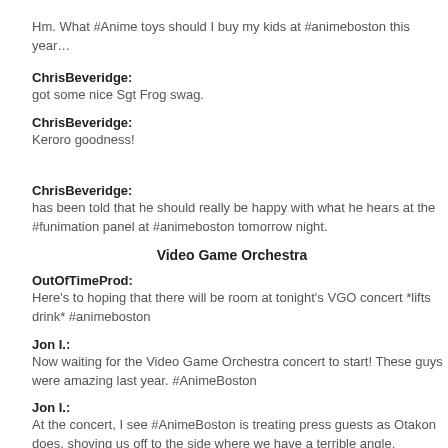Hm. What #Anime toys should I buy my kids at #animeboston this year…
ChrisBeveridge: got some nice Sgt Frog swag.
ChrisBeveridge: Keroro goodness!
ChrisBeveridge: has been told that he should really be happy with what he hears at the #funimation panel at #animeboston tomorrow night.
Video Game Orchestra
OutOfTimeProd: Here's to hoping that there will be room at tonight's VGO concert *lifts drink* #animeboston
Jon I.: Now waiting for the Video Game Orchestra concert to start! These guys were amazing last year. #AnimeBoston
Jon I.: At the concert, I see #AnimeBoston is treating press guests as Otakon does, shoving us off to the side where we have a terrible angle.
Jon I.: